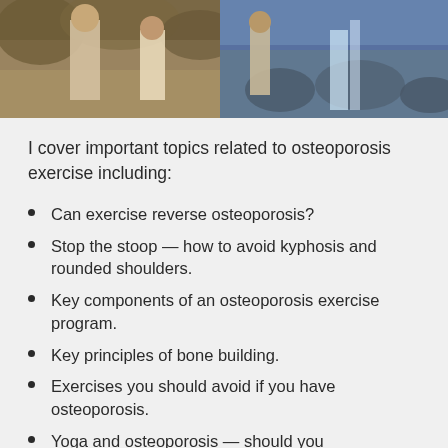[Figure (photo): A collage of two outdoor photos showing people exercising or walking outdoors, one appears to show someone near a waterfall or rocky terrain.]
I cover important topics related to osteoporosis exercise including:
Can exercise reverse osteoporosis?
Stop the stoop — how to avoid kyphosis and rounded shoulders.
Key components of an osteoporosis exercise program.
Key principles of bone building.
Exercises you should avoid if you have osteoporosis.
Yoga and osteoporosis — should you